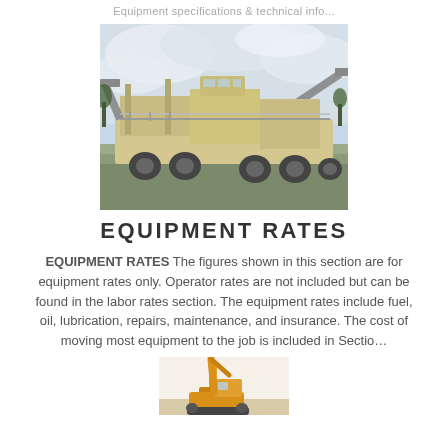Equipment specifications & technical info...
[Figure (photo): Outdoor photograph of heavy construction/mining equipment - a mobile crushing or processing plant on wheels, with conveyor belts, against a cloudy sky background.]
EQUIPMENT RATES
EQUIPMENT RATES The figures shown in this section are for equipment rates only. Operator rates are not included but can be found in the labor rates section. The equipment rates include fuel, oil, lubrication, repairs, maintenance, and insurance. The cost of moving most equipment to the job is included in Sectio...
[Figure (photo): Partial view of construction equipment - appears to be a yellow/orange excavator or similar piece of machinery, cropped at the bottom of the page.]